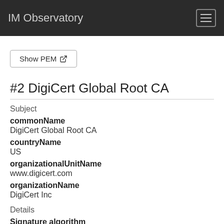IM Observatory
Show PEM
#2 DigiCert Global Root CA
Subject
commonName
DigiCert Global Root CA
countryName
US
organizationalUnitName
www.digicert.com
organizationName
DigiCert Inc
Details
Signature algorithm